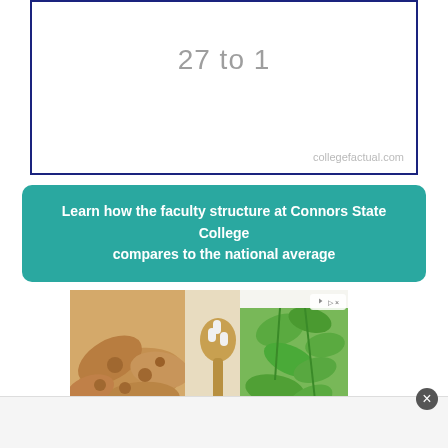27 to 1
collegefactual.com
Learn how the faculty structure at Connors State College compares to the national average
[Figure (photo): Advertisement showing ginger root, wooden spoon with capsules, and green herbs/mint leaves on a white background, with a sponsored badge in the top right corner]